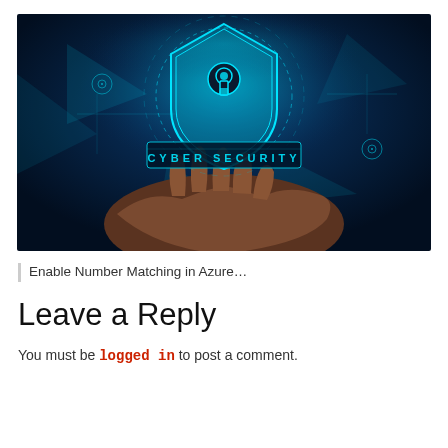[Figure (photo): A hand holding a glowing blue digital shield with a keyhole icon, surrounded by cyber security interface graphics and the text 'CYBER SECURITY' displayed on a virtual tablet screen. Dark blue toned image.]
| Enable Number Matching in Azure…
Leave a Reply
You must be logged in to post a comment.